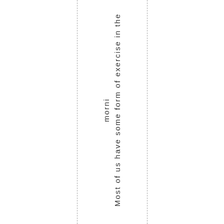Most of us have some form of exercise in the morni